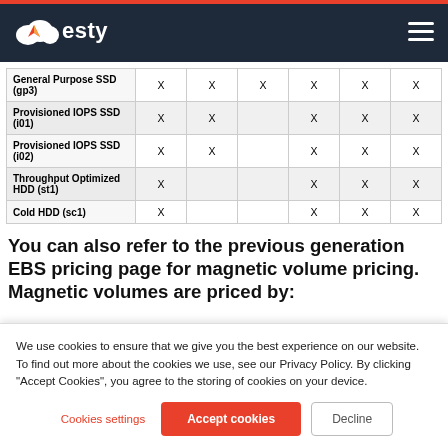Zesty
|  |  |  |  |  |  |  |
| --- | --- | --- | --- | --- | --- | --- |
| General Purpose SSD (gp3) | X | X | X | X | X | X |
| Provisioned IOPS SSD (i01) | X | X |  | X | X | X |
| Provisioned IOPS SSD (i02) | X | X |  | X | X | X |
| Throughput Optimized HDD (st1) | X |  |  | X | X | X |
| Cold HDD (sc1) | X |  |  | X | X | X |
You can also refer to the previous generation EBS pricing page for magnetic volume pricing. Magnetic volumes are priced by:
We use cookies to ensure that we give you the best experience on our website. To find out more about the cookies we use, see our Privacy Policy. By clicking “Accept Cookies”, you agree to the storing of cookies on your device.